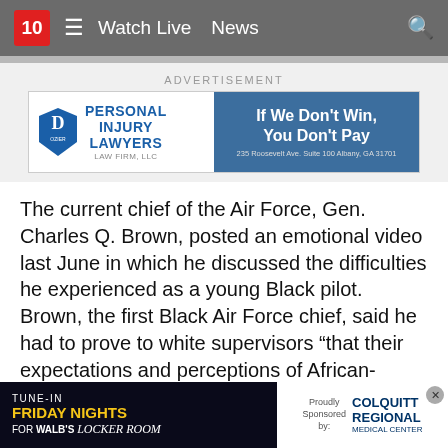10  ≡  Watch Live  News
ADVERTISEMENT
[Figure (other): Dozier Law Firm, LLC advertisement banner: Personal Injury Lawyers. If We Don't Win, You Don't Pay. 235 Roosevelt Ave. Suite 100 Albany, GA 31701.]
The current chief of the Air Force, Gen. Charles Q. Brown, posted an emotional video last June in which he discussed the difficulties he experienced as a young Black pilot. Brown, the first Black Air Force chief, said he had to prove to white supervisors “that their expectations and perceptions of African-Americans were invalid.”
Created in 2020, the Naming Commission first met in March 2021 and began taking name recommendations from the public in September. Overall, the commission received… said include…
[Figure (other): Tune-In Friday Nights for WALB's Locker Room, Proudly Sponsored by Colquitt Regional Medical Center]